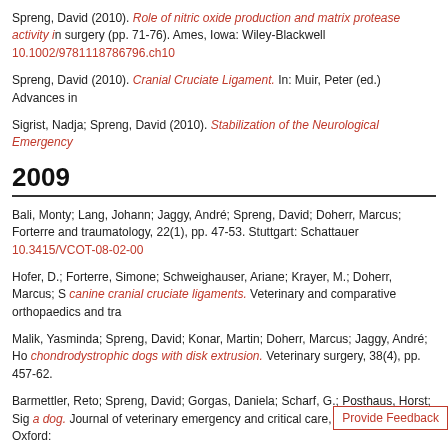Spreng, David (2010). Role of nitric oxide production and matrix protease activity in surgery (pp. 71-76). Ames, Iowa: Wiley-Blackwell 10.1002/9781118786796.ch10
Spreng, David (2010). Cranial Cruciate Ligament. In: Muir, Peter (ed.) Advances in
Sigrist, Nadja; Spreng, David (2010). Stabilization of the Neurological Emergency
2009
Bali, Monty; Lang, Johann; Jaggy, André; Spreng, David; Doherr, Marcus; Forterre and traumatology, 22(1), pp. 47-53. Stuttgart: Schattauer 10.3415/VCOT-08-02-00
Hofer, D.; Forterre, Simone; Schweighauser, Ariane; Krayer, M.; Doherr, Marcus; S canine cranial cruciate ligaments. Veterinary and comparative orthopaedics and tra
Malik, Yasminda; Spreng, David; Konar, Martin; Doherr, Marcus; Jaggy, André; Ho chondrodystrophic dogs with disk extrusion. Veterinary surgery, 38(4), pp. 457-62.
Barmettler, Reto; Spreng, David; Gorgas, Daniela; Scharf, G.; Posthaus, Horst; Sig a dog. Journal of veterinary emergency and critical care, 19(3), pp. 280-5. Oxford:
Forterre, Franck; Jaggy, A.; Malik, Y.; Howard, J.; Rufenacht, S.; Spreng, David (20 three dogs. Veterinary and comparative orthopaedics and traumatology, 22(3), pp.
2008